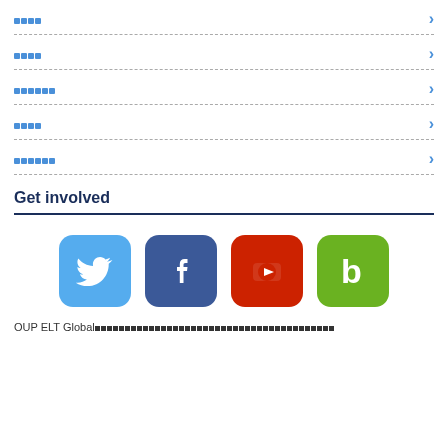████
████
██████
████
██████
Get involved
[Figure (logo): Twitter, Facebook, YouTube, and Badoo social media icons]
OUP ELT Global████████████████████████████████████████████